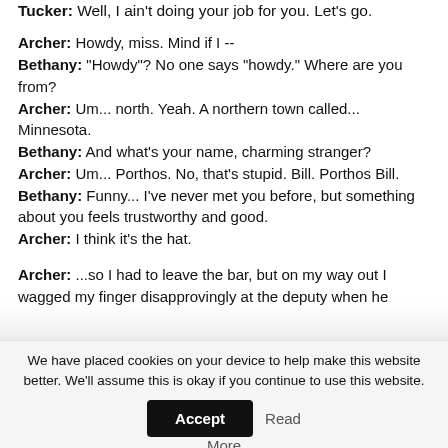Tucker: Well, I ain't doing your job for you. Let's go.
Archer: Howdy, miss. Mind if I --
Bethany: "Howdy"? No one says "howdy." Where are you from?
Archer: Um... north. Yeah. A northern town called... Minnesota.
Bethany: And what's your name, charming stranger?
Archer: Um... Porthos. No, that's stupid. Bill. Porthos Bill.
Bethany: Funny... I've never met you before, but something about you feels trustworthy and good.
Archer: I think it's the hat.
Archer: ...so I had to leave the bar, but on my way out I wagged my finger disapprovingly at the deputy when he
We have placed cookies on your device to help make this website better. We'll assume this is okay if you continue to use this website.
Accept
Read More